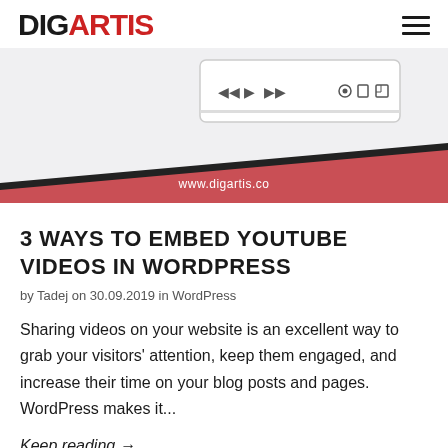DIGARTIS
[Figure (screenshot): Screenshot of a media player control bar with playback buttons and settings icons, with a diagonal red/pink banner at the bottom showing www.digartis.co]
3 WAYS TO EMBED YOUTUBE VIDEOS IN WORDPRESS
by Tadej on 30.09.2019 in WordPress
Sharing videos on your website is an excellent way to grab your visitors' attention, keep them engaged, and increase their time on your blog posts and pages. WordPress makes it...
Keep reading →